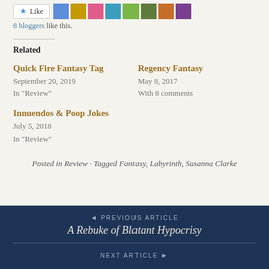8 bloggers like this.
Related
Quick Fire Fantasy Tag
September 20, 2019
In "Review"
Regency Fantasy
May 8, 2017
With 8 comments
Innuendos & Poop Jokes
July 5, 2018
In "Review"
Posted in Review · Tagged Fantasy, Labyrinth, Susanna Clarke
◄ PREVIOUS ARTICLE
A Rebuke of Blatant Hypocrisy
NEXT ARTICLE ►